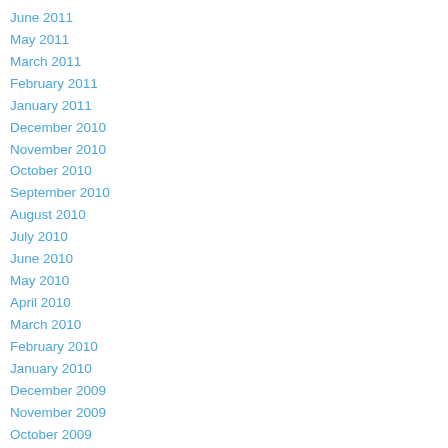June 2011
May 2011
March 2011
February 2011
January 2011
December 2010
November 2010
October 2010
September 2010
August 2010
July 2010
June 2010
May 2010
April 2010
March 2010
February 2010
January 2010
December 2009
November 2009
October 2009